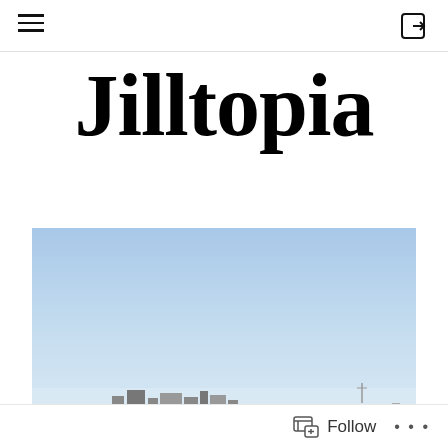Jilltopia — navigation header with hamburger menu and login icon
Jilltopia
[Figure (photo): Outdoor photo showing a wide blue sky with some buildings or structures silhouetted at the bottom horizon line]
Follow ...